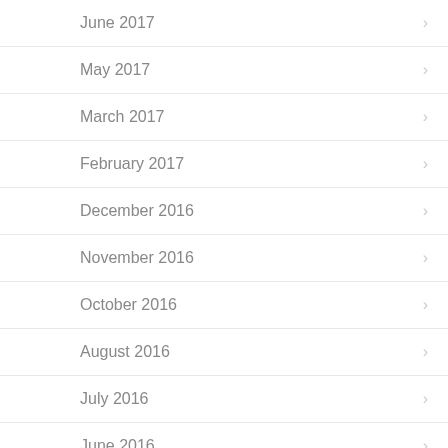June 2017
May 2017
March 2017
February 2017
December 2016
November 2016
October 2016
August 2016
July 2016
June 2016